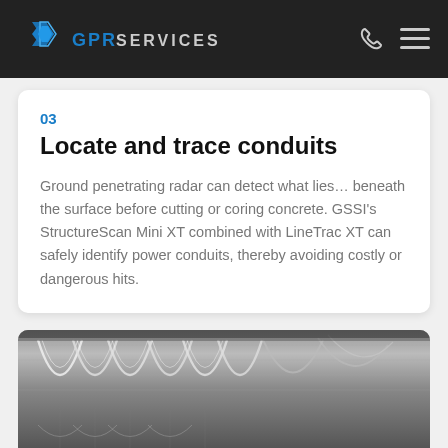GPR SERVICES
03
Locate and trace conduits
Ground penetrating radar can detect what lies... beneath the surface before cutting or coring concrete. GSSI's StructureScan Mini XT combined with LineTrac XT can safely identify power conduits, thereby avoiding costly or dangerous hits.
[Figure (photo): GPR scan output image showing hyperbolic reflections of conduits beneath a concrete surface, displayed in black and white with characteristic arch/parabola patterns.]